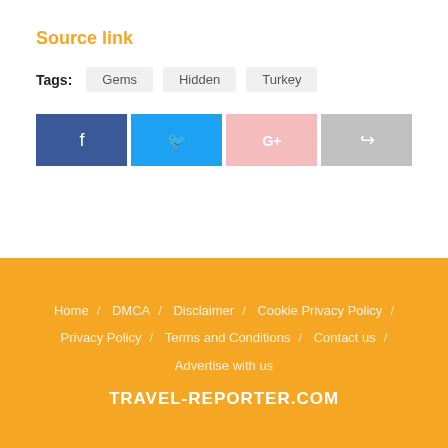Source link
Tags: Gems Hidden Turkey
[Figure (other): Social share buttons: Facebook, Twitter, Google+, Share]
Home / DMCA / Disclaimer / Cookie Privacy Policy / Privacy Policy / Terms and Conditions / Contact us / Advertise with us
TRAVEL-REPORTER.COM